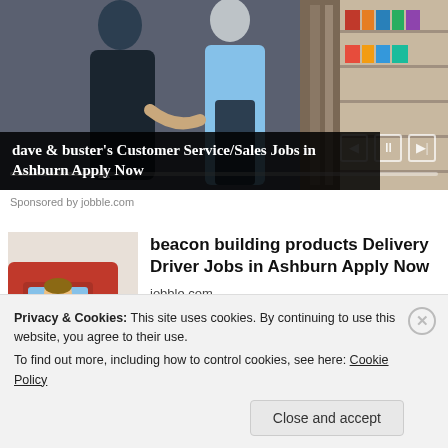[Figure (photo): Advertisement banner showing people in a store/retail environment with video player controls overlay]
dave & buster's Customer Service/Sales Jobs in Ashburn Apply Now
Sponsored by jobble.com
[Figure (photo): Thumbnail image of a woman in/near a red delivery truck]
beacon building products Delivery Driver Jobs in Ashburn Apply Now
jobble.com
Privacy & Cookies: This site uses cookies. By continuing to use this website, you agree to their use.
To find out more, including how to control cookies, see here: Cookie Policy
Close and accept